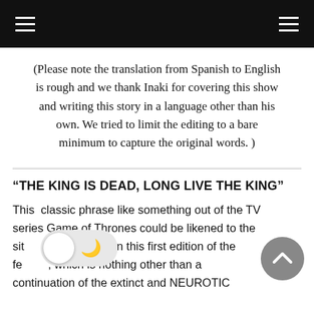≡  ≡
(Please note the translation from Spanish to English is rough and we thank Inaki for covering this show and writing this story in a language other than his own. We tried to limit the editing to a bare minimum to capture the original words. )
“THE KING IS DEAD, LONG LIVE THE KING”
This  classic phrase like something out of the TV series Game of Thrones could be likened to the sit[toggle]witnessed in this first edition of the fe[toggle], which is nothing other than a continuation of the extinct and NEUROTIC